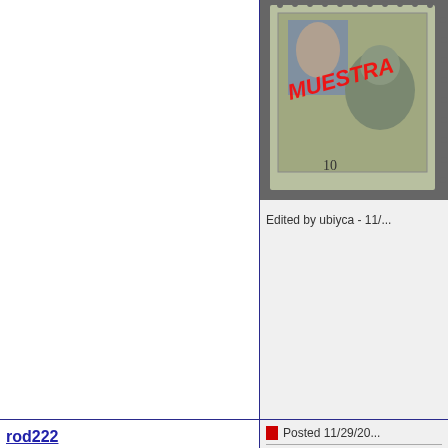[Figure (photo): Photograph of a vintage postage stamp with red overprint, partially visible]
Edited by ubiyca - 11/...
rod222
Bedrock Of The Community
Australia
35924 Posts
[Figure (photo): Avatar image showing cartoon cat characters (Catdog style) with orange coloring on green background]
Posted 11/29/20...
Opinion.
from primary sch...
Bends in differen...

Stamps with Gum...
gum, expand and...
the gum hardens...
Stamps will gene...

Rather comm...